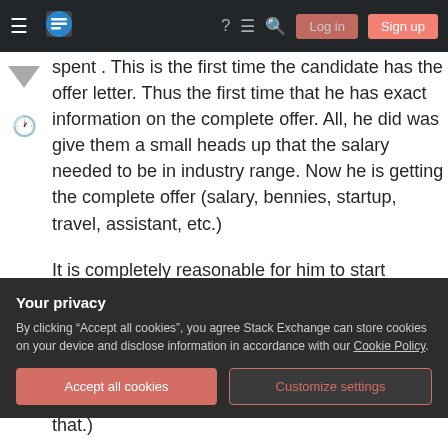Stack Exchange navigation bar with Log in and Sign up buttons
spent . This is the first time the candidate has the offer letter. Thus the first time that he has exact information on the complete offer. All, he did was give them a small heads up that the salary needed to be in industry range. Now he is getting the complete offer (salary, bennies, startup, travel, assistant, etc.)
It is completely reasonable for him to start negotiations based on this offer. And it is common to try to raise the startup package. And maybe even psychologically easier than paying a junior person
Your privacy
By clicking "Accept all cookies", you agree Stack Exchange can store cookies on your device and disclose information in accordance with our Cookie Policy.
package? It is silly to think you have to accept that.)